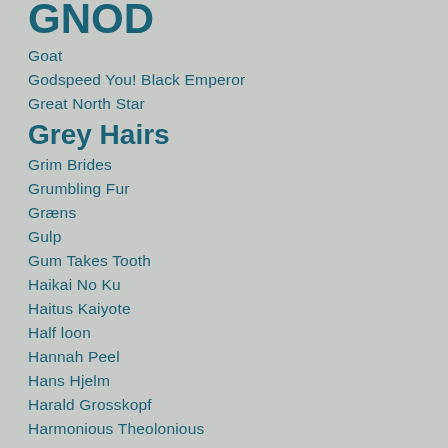GNOD
Goat
Godspeed You! Black Emperor
Great North Star
Grey Hairs
Grim Brides
Grumbling Fur
Græns
Gulp
Gum Takes Tooth
Haikai No Ku
Haitus Kaiyote
Half loon
Hannah Peel
Hans Hjelm
Harald Grosskopf
Harmonious Theolonious
Has A Shadow
Hattie Cooke
Hausfrauen of Death
Hawkeyes